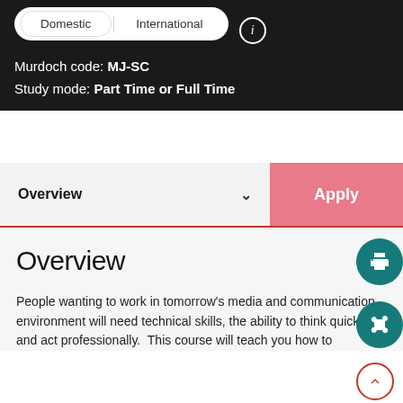Domestic | International
Murdoch code: MJ-SC
Study mode: Part Time or Full Time
Overview ▾
Apply
Overview
People wanting to work in tomorrow's media and communication environment will need technical skills, the ability to think quickly and act professionally. This course will teach you how to